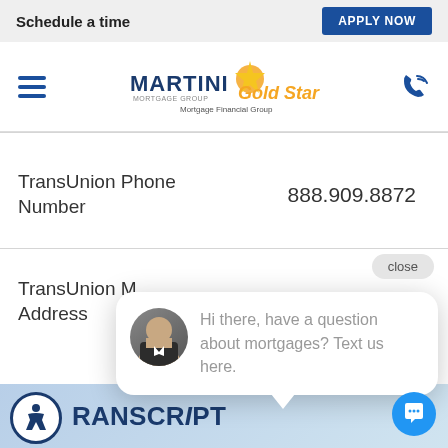Schedule a time | APPLY NOW
[Figure (logo): MARTINI Gold Star Mortgage Financial Group logo with hamburger menu and phone icon]
TransUnion Phone Number
888.909.8872
TransUnion M... Address
[Figure (screenshot): Chat popup with avatar photo of a man in a suit. Text reads: Hi there, have a question about mortgages? Text us here. Close button visible.]
[Figure (screenshot): Bottom banner showing accessibility icon, TRANSCRIPT text, and chat FAB button on a blue-tinted background]